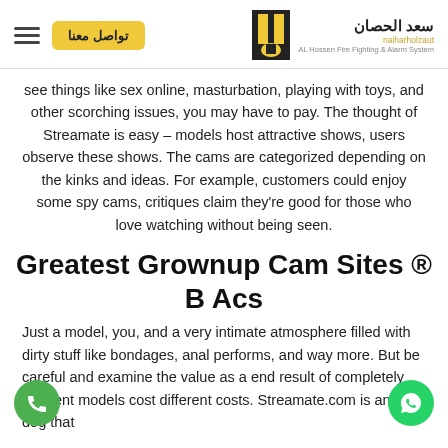تواصل معنا | سعد الحصان - Al Hossen Fire Fighting & Alarm System
see things like sex online, masturbation, playing with toys, and other scorching issues, you may have to pay. The thought of Streamate is easy – models host attractive shows, users observe these shows. The cams are categorized depending on the kinks and ideas. For example, customers could enjoy some spy cams, critiques claim they're good for those who love watching without being seen.
Greatest Grownup Cam Sites ® B Acs
Just a model, you, and a very intimate atmosphere filled with dirty stuff like bondages, anal performs, and way more. But be careful and examine the value as a end result of completely different models cost different costs. Streamate.com is an old dog that